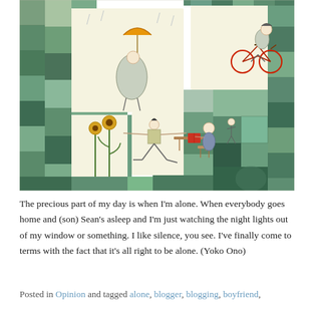[Figure (illustration): A whimsical illustration featuring a patchwork of green, teal, and cream fabric-like squares forming a quilt or collage background. Charming hand-drawn characters are depicted: a figure holding an orange umbrella in the rain, a child riding a red bicycle, a figure doing a yoga/warrior pose near sunflowers, a person reading at a desk/table, and a small figure falling or floating. The overall palette is earthy green, cream, and muted teal tones.]
The precious part of my day is when I'm alone. When everybody goes home and (son) Sean's asleep and I'm just watching the night lights out of my window or something. I like silence, you see. I've finally come to terms with the fact that it's all right to be alone. (Yoko Ono)
Posted in Opinion and tagged alone, blogger, blogging, boyfriend,